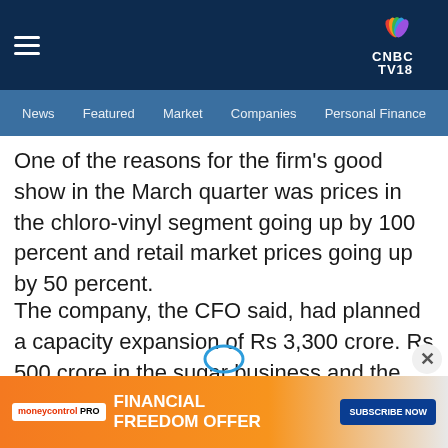CNBC TV18 - News, Featured, Market, Companies, Personal Finance
One of the reasons for the firm's good show in the March quarter was prices in the chloro-vinyl segment going up by 100 percent and retail market prices going up by 50 percent.
The company, the CFO said, had planned a capacity expansion of Rs 3,300 crore. Rs 500 crore in the sugar business and the rest in chemicals. "We expect revenues of Rs 3,000 crore from the new capex," he said.
[Figure (screenshot): Moneycontrol PRO - FINANCIAL FREEDOM OFFER - SUBSCRIBE NOW advertisement banner at the bottom of the page]